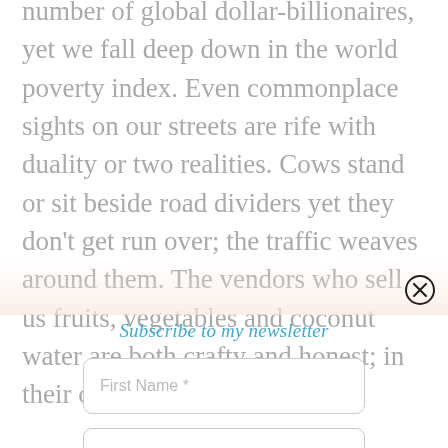number of global dollar-billionaires, yet we fall deep down in the world poverty index. Even commonplace sights on our streets are rife with duality or two realities. Cows stand or sit beside road dividers yet they don't get run over; the traffic weaves around them. The vendors who sell us fruits, vegetables and coconut water are both crafty and honest; in their own way. Extended
Subscribe to my newsletter
First Name *
Email *